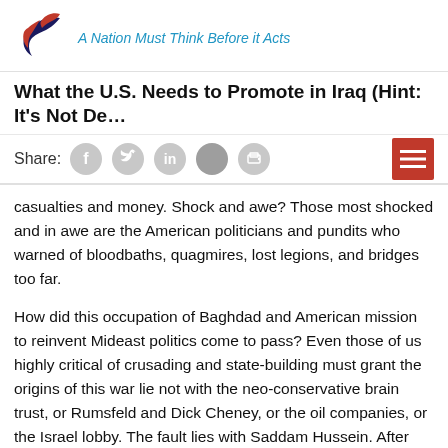A Nation Must Think Before it Acts
What the U.S. Needs to Promote in Iraq (Hint: It's Not De…
Share:
casualties and money. Shock and awe? Those most shocked and in awe are the American politicians and pundits who warned of bloodbaths, quagmires, lost legions, and bridges too far.
How did this occupation of Baghdad and American mission to reinvent Mideast politics come to pass? Even those of us highly critical of crusading and state-building must grant the origins of this war lie not with the neo-conservative brain trust, or Rumsfeld and Dick Cheney, or the oil companies, or the Israel lobby. The fault lies with Saddam Hussein. After the Shah's regime succumbed to the Ayatollah Khomeini and Iran emerged as an Islamic republic pledged to make war on the Great Satan (United States), Saddam Hussein